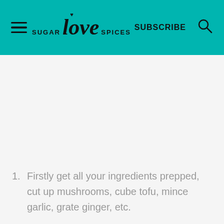SUGAR love SPICES  SUBSCRIBE
1. Firstly get all your ingredients prepped, cut up mushrooms, cube tofu, mince garlic, grate ginger, etc.